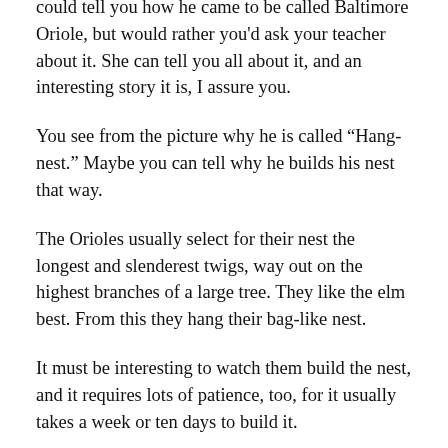could tell you how he came to be called Baltimore Oriole, but would rather you'd ask your teacher about it. She can tell you all about it, and an interesting story it is, I assure you.
You see from the picture why he is called “Hang-nest.” Maybe you can tell why he builds his nest that way.
The Orioles usually select for their nest the longest and slenderest twigs, way out on the highest branches of a large tree. They like the elm best. From this they hang their bag-like nest.
It must be interesting to watch them build the nest, and it requires lots of patience, too, for it usually takes a week or ten days to build it.
They fasten both ends of a string to the twigs between